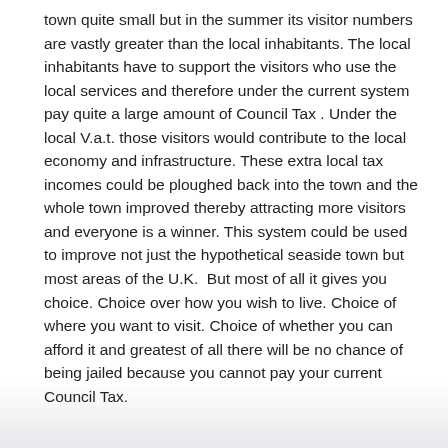town quite small but in the summer its visitor numbers are vastly greater than the local inhabitants. The local inhabitants have to support the visitors who use the local services and therefore under the current system pay quite a large amount of Council Tax . Under the local V.a.t. those visitors would contribute to the local economy and infrastructure. These extra local tax incomes could be ploughed back into the town and the whole town improved thereby attracting more visitors and everyone is a winner. This system could be used to improve not just the hypothetical seaside town but most areas of the U.K.  But most of all it gives you choice. Choice over how you wish to live. Choice of where you want to visit. Choice of whether you can afford it and greatest of all there will be no chance of being jailed because you cannot pay your current Council Tax.